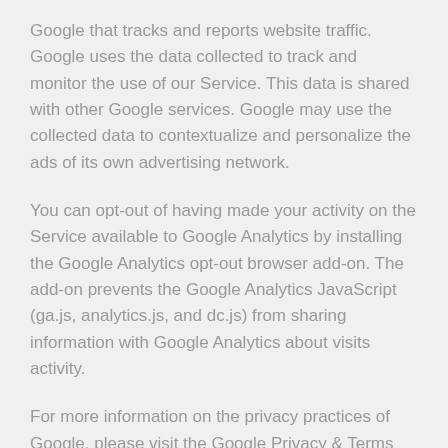Google that tracks and reports website traffic. Google uses the data collected to track and monitor the use of our Service. This data is shared with other Google services. Google may use the collected data to contextualize and personalize the ads of its own advertising network.
You can opt-out of having made your activity on the Service available to Google Analytics by installing the Google Analytics opt-out browser add-on. The add-on prevents the Google Analytics JavaScript (ga.js, analytics.js, and dc.js) from sharing information with Google Analytics about visits activity.
For more information on the privacy practices of Google, please visit the Google Privacy & Terms web page https://policies.google.com/privacy?hl=en